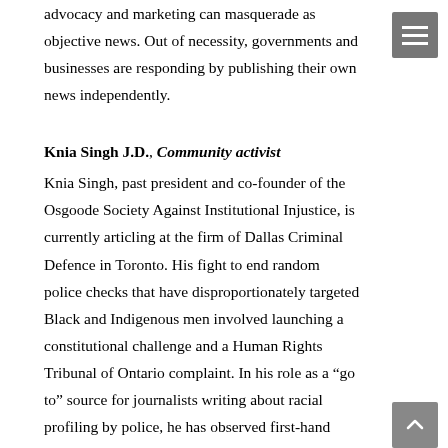advocacy and marketing can masquerade as objective news. Out of necessity, governments and businesses are responding by publishing their own news independently.
Knia Singh J.D., Community activist
Knia Singh, past president and co-founder of the Osgoode Society Against Institutional Injustice, is currently articling at the firm of Dallas Criminal Defence in Toronto. His fight to end random police checks that have disproportionately targeted Black and Indigenous men involved launching a constitutional challenge and a Human Rights Tribunal of Ontario complaint. In his role as a “go to” source for journalists writing about racial profiling by police, he has observed first-hand how local news coverage